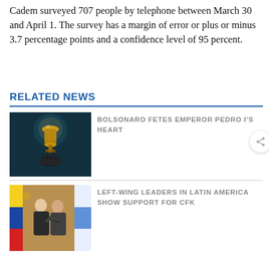Cadem surveyed 707 people by telephone between March 30 and April 1. The survey has a margin of error or plus or minus 3.7 percentage points and a confidence level of 95 percent.
RELATED NEWS
[Figure (photo): Dark museum display of a golden urn/vessel and crown under spotlight]
BOLSONARO FETES EMPEROR PEDRO I'S HEART
[Figure (photo): Two men in suits greeting/embracing with Colombian and Argentine flags in background]
LEFT-WING LEADERS IN LATIN AMERICA SHOW SUPPORT FOR CFK